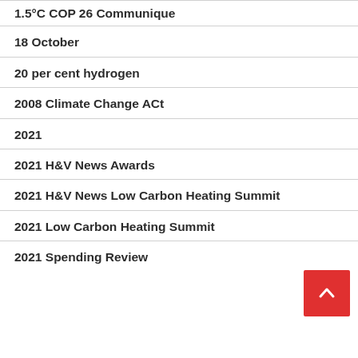1.5°C COP 26 Communique
18 October
20 per cent hydrogen
2008 Climate Change ACt
2021
2021 H&V News Awards
2021 H&V News Low Carbon Heating Summit
2021 Low Carbon Heating Summit
2021 Spending Review